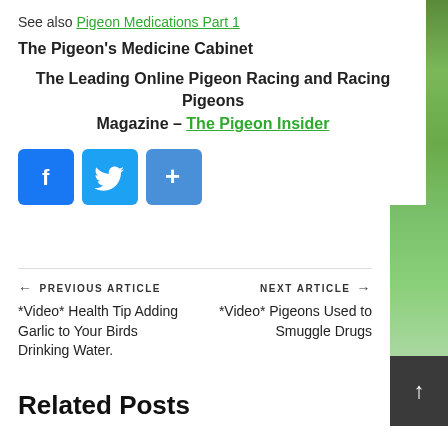See also Pigeon Medications Part 1
The Pigeon's Medicine Cabinet
The Leading Online Pigeon Racing and Racing Pigeons Magazine – The Pigeon Insider
[Figure (infographic): Three social media share buttons: Facebook (blue), Twitter (light blue), and a share/plus button (blue)]
← PREVIOUS ARTICLE
*Video* Health Tip Adding Garlic to Your Birds Drinking Water.
NEXT ARTICLE →
*Video* Pigeons Used to Smuggle Drugs
Related Posts